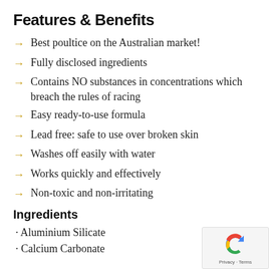Features & Benefits
Best poultice on the Australian market!
Fully disclosed ingredients
Contains NO substances in concentrations which breach the rules of racing
Easy ready-to-use formula
Lead free: safe to use over broken skin
Washes off easily with water
Works quickly and effectively
Non-toxic and non-irritating
Ingredients
Aluminium Silicate
Calcium Carbonate